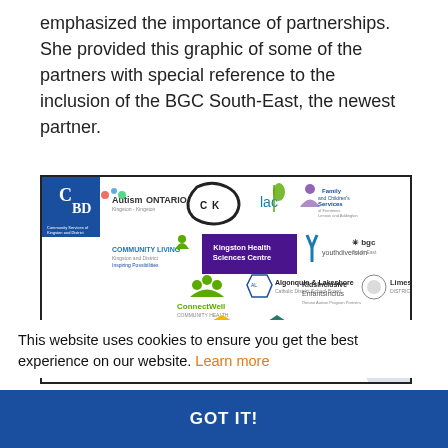emphasized the importance of partnerships. She provided this graphic of some of the partners with special reference to the inclusion of the BGC South-East, the newest partner.
[Figure (infographic): A collage of partner organization logos including: CBD, Autism Ontario, CKTB, lac, Family and Children's Services, Community Living Kingston and District, Inspiring Possibilities, Kingston Health Sciences Centre, youthdiversion, bgc South East, ConnectWell Community Health, Algonquin & Lakeshore Catholic District School Board, KidsInclusive EnfantsInclus, Limestone District School Board, One Roof A Community Homelessness Initiative, Psychology Clinic at Queen's University, KFL&A, and others.]
This website uses cookies to ensure you get the best experience on our website. Learn more
GOT IT!